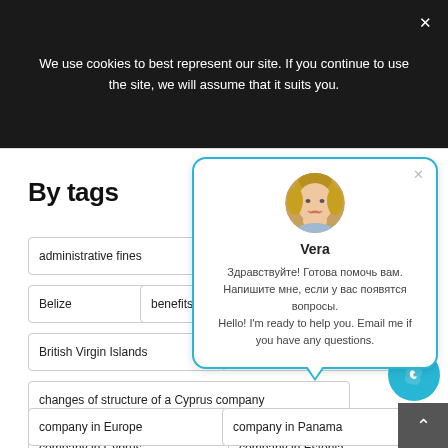We use cookies to best represent our site. If you continue to use the site, we will assume that it suits you.
By tags
administrative fines
Belize
benefits of a
British Virgin Islands
business in Cyprus
changes of structure of a Cyprus company
company in Cyprus
company in Estonia
company in Europe
company in Panama
[Figure (screenshot): Chat popup with avatar of Vera, name label, and bilingual greeting message in Russian and English]
Vera
Здравствуйте! Готова помочь вам. Напишите мне, если у вас появятся вопросы.
Hello! I'm ready to help you. Email me if you have any questions.